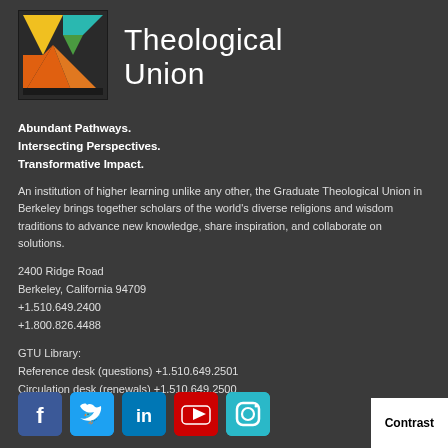[Figure (logo): Graduate Theological Union colorful geometric logo with triangular mountain shapes in yellow, green, orange, and teal]
Theological Union
Abundant Pathways.
Intersecting Perspectives.
Transformative Impact.
An institution of higher learning unlike any other, the Graduate Theological Union in Berkeley brings together scholars of the world's diverse religions and wisdom traditions to advance new knowledge, share inspiration, and collaborate on solutions.
2400 Ridge Road
Berkeley, California 94709
+1.510.649.2400
+1.800.826.4488
GTU Library:
Reference desk (questions) +1.510.649.2501
Circulation desk (renewals) +1.510.649.2500
[Figure (infographic): Social media icons row: Facebook, Twitter, LinkedIn, YouTube, Instagram]
Contrast